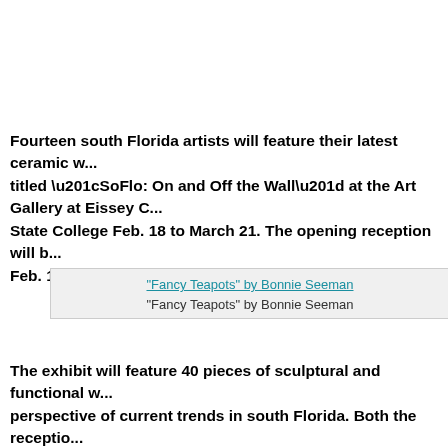Fourteen south Florida artists will feature their latest ceramic w... titled “SoFlo: On and Off the Wall” at the Art Gallery at Eissey C... State College Feb. 18 to March 21. The opening reception will b... Feb. 18.
[Figure (photo): Broken image placeholder labeled '"Fancy Teapots" by Bonnie Seeman' with caption below]
“Fancy Teapots” by Bonnie Seeman
The exhibit will feature 40 pieces of sculptural and functional w... perspective of current trends in south Florida. Both the receptio... free and open to the public. Artwork will be available for purcha...